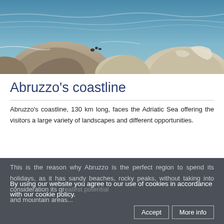[Figure (photo): Coastal scene with large boulders/rocks in the foreground and the Adriatic Sea with waves in the background. Birds visible on top of rocks.]
Abruzzo's coastline
Abruzzo's coastline, 130 km long, faces the Adriatic Sea offering the visitors a large variety of landscapes and different opportunities.
This is the reason why Abruzzo is the perfect region to spend its holidays, as it has sandy beaches, rocky peaks, without taking into consideration its gr...ential ... and mountain areas...
By using our website you agree to our use of cookies in accordance with our cookie policy.